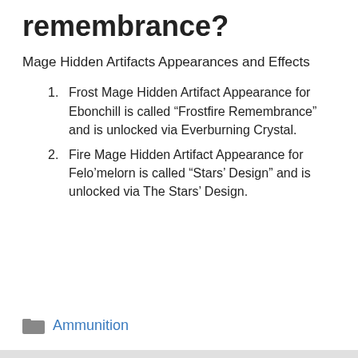remembrance?
Mage Hidden Artifacts Appearances and Effects
Frost Mage Hidden Artifact Appearance for Ebonchill is called “Frostfire Remembrance” and is unlocked via Everburning Crystal.
Fire Mage Hidden Artifact Appearance for Felo’melorn is called “Stars’ Design” and is unlocked via The Stars’ Design.
Ammunition